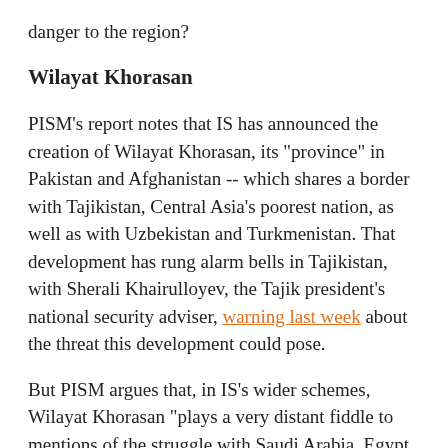danger to the region?
Wilayat Khorasan
PISM's report notes that IS has announced the creation of Wilayat Khorasan, its "province" in Pakistan and Afghanistan -- which shares a border with Tajikistan, Central Asia's poorest nation, as well as with Uzbekistan and Turkmenistan. That development has rung alarm bells in Tajikistan, with Sherali Khairulloyev, the Tajik president's national security adviser, warning last week about the threat this development could pose.
But PISM argues that, in IS's wider schemes, Wilayat Khorasan "plays a very distant fiddle to mentions of the struggle with Saudi Arabia, Egypt, Iraq, Syria, Libya, Algeria, Tunisia and also different Western or European countries in [the militant group] ISIS' strategic communications and its geopolitical